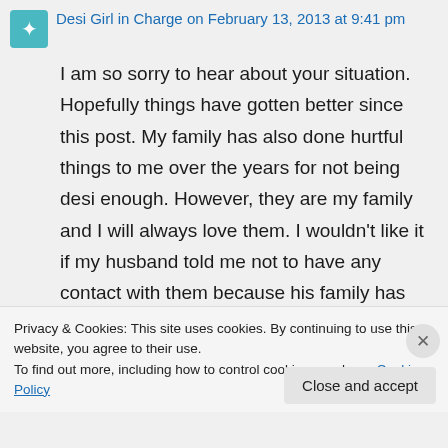Desi Girl in Charge on February 13, 2013 at 9:41 pm
I am so sorry to hear about your situation. Hopefully things have gotten better since this post. My family has also done hurtful things to me over the years for not being desi enough. However, they are my family and I will always love them. I wouldn't like it if my husband told me not to have any contact with them because his family has also been hurtful to me and I wouldn't ask
Privacy & Cookies: This site uses cookies. By continuing to use this website, you agree to their use.
To find out more, including how to control cookies, see here: Cookie Policy
Close and accept